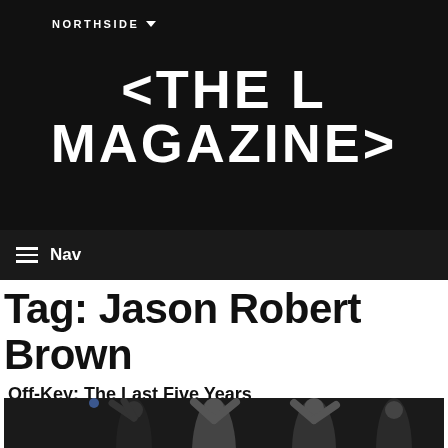NORTHSIDE
<THE L MAGAZINE>
Nav
Tag: Jason Robert Brown
Off-Key: The Last Five Years
by Ryan Vlastelica | 02/11/2015 9:00 AM | No Comments
[Figure (photo): Stage performance photo showing performers with raised hands, appearing to be from a musical theater production]